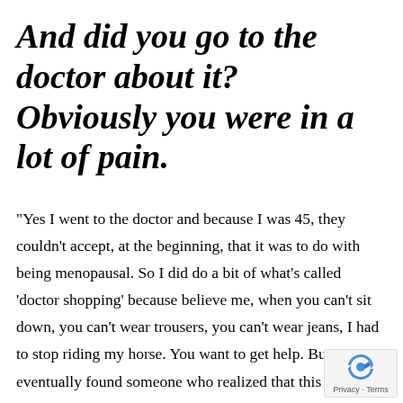And did you go to the doctor about it? Obviously you were in a lot of pain.
“Yes I went to the doctor and because I was 45, they couldn't accept, at the beginning, that it was to do with being menopausal. So I did do a bit of what's called ‘doctor shopping’ because believe me, when you can't sit down, you can't wear trousers, you can't wear jeans, I had to stop riding my horse. You want to get help. But I eventually found someone who realized that this